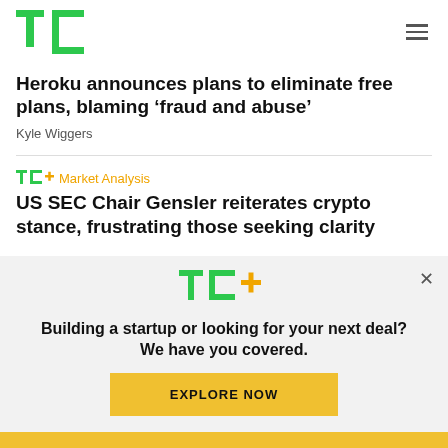TechCrunch logo and navigation
Heroku announces plans to eliminate free plans, blaming ‘fraud and abuse’
Kyle Wiggers
TC+ Market Analysis
US SEC Chair Gensler reiterates crypto stance, frustrating those seeking clarity
Building a startup or looking for your next deal? We have you covered.
EXPLORE NOW